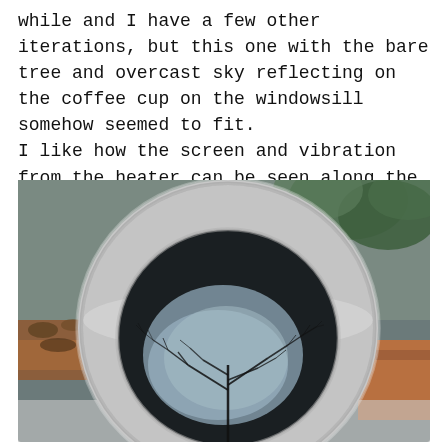while and I have a few other iterations, but this one with the bare tree and overcast sky reflecting on the coffee cup on the windowsill somehow seemed to fit.
I like how the screen and vibration from the heater can be seen along the edges of the mug...
[Figure (photo): Close-up photograph of a coffee mug viewed from above on a windowsill, showing the reflection of a bare tree and overcast sky in the dark liquid inside the mug. The background shows garden foliage and brick ledge, with a blurred effect from screen/heater vibration visible along the mug edges.]